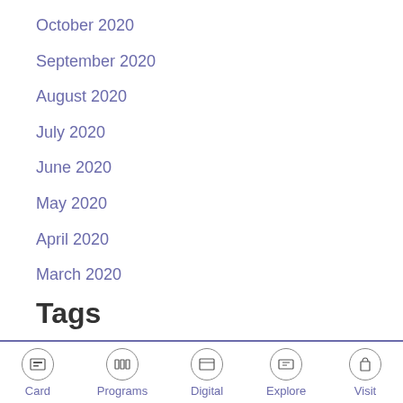October 2020
September 2020
August 2020
July 2020
June 2020
May 2020
April 2020
March 2020
Tags
#staffpick
#teenpick
20 Mile
70 Mile
Card  Programs  Digital  Explore  Visit